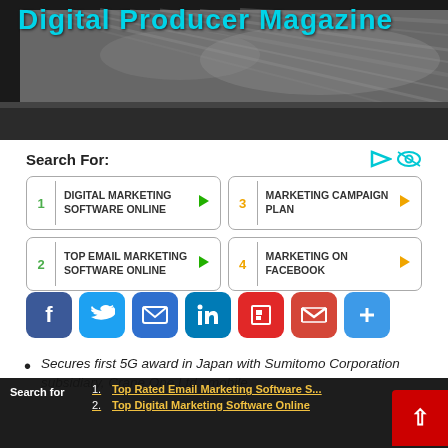[Figure (photo): Black and white photo of a printing press with paper rolls, overlaid with 'Digital Producer Magazine' title in cyan text]
Digital Producer Magazine
Search For:
1 DIGITAL MARKETING SOFTWARE ONLINE
2 TOP EMAIL MARKETING SOFTWARE ONLINE
3 MARKETING CAMPAIGN PLAN
4 MARKETING ON FACEBOOK
[Figure (infographic): Row of social media share buttons: Facebook, Twitter, Email, LinkedIn, Flipboard, Gmail, Plus]
Secures first 5G award in Japan with Sumitomo Corporation subsidiary, Crane One Ltd.; mobile
Search for
1. Top Rated Email Marketing Software S...
2. Top Digital Marketing Software Online